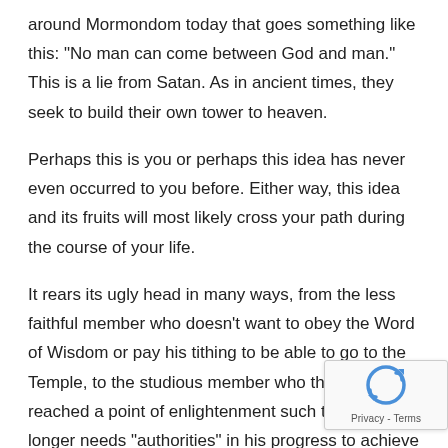around Mormondom today that goes something like this: “No man can come between God and man.” This is a lie from Satan. As in ancient times, they seek to build their own tower to heaven.
Perhaps this is you or perhaps this idea has never even occurred to you before. Either way, this idea and its fruits will most likely cross your path during the course of your life.
It rears its ugly head in many ways, from the less faithful member who doesn’t want to obey the Word of Wisdom or pay his tithing to be able to go to the Temple, to the studious member who thinks he has reached a point of enlightenment such that he no longer needs “authorities” in his progress to achieve a personal relationship with the Lord. Whatever the case, it really boils down to pride, and thinking we are above the bounds the Lord has set, eternal principles that He Himself had to obey to get to where He is
Now the reason why this lie is so popular, and is making a huge